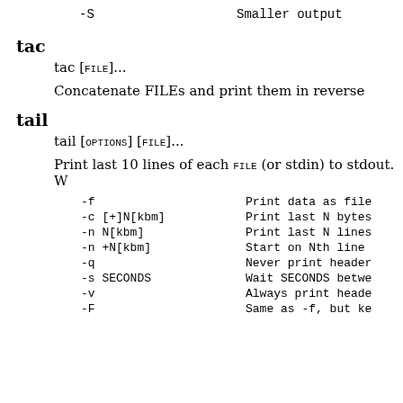-S    Smaller output
tac
tac [FILE]...
Concatenate FILEs and print them in reverse
tail
tail [OPTIONS] [FILE]...
Print last 10 lines of each FILE (or stdin) to stdout. W
-f    Print data as file
-c [+]N[kbm]    Print last N bytes
-n N[kbm]    Print last N lines
-n +N[kbm]    Start on Nth line
-q    Never print header
-s SECONDS    Wait SECONDS betwe
-v    Always print heade
-F    Same as -f, but ke